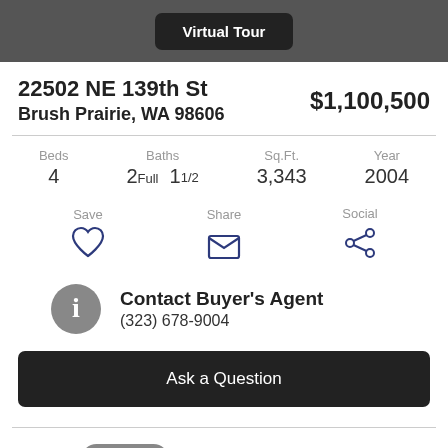[Figure (other): Virtual Tour button on dark grey header bar]
22502 NE 139th St
Brush Prairie, WA 98606
$1,100,500
| Beds | Baths | Sq.Ft. | Year |
| --- | --- | --- | --- |
| 4 | 2 Full  1 1/2 | 3,343 | 2004 |
Save | Share | Social
Contact Buyer's Agent
(323) 678-9004
Ask a Question
Status: Sold